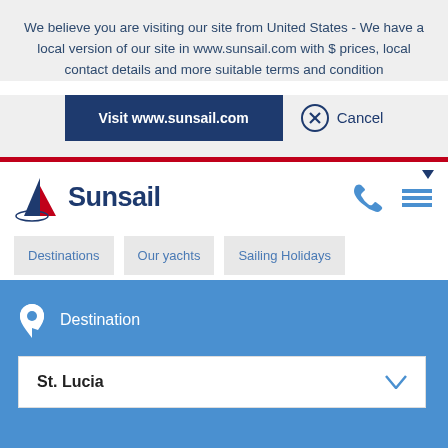We believe you are visiting our site from United States - We have a local version of our site in www.sunsail.com with $ prices, local contact details and more suitable terms and condition
Visit www.sunsail.com
Cancel
[Figure (logo): Sunsail logo with sailing boat icon in red and dark blue]
Destinations
Our yachts
Sailing Holidays
Destination
St. Lucia